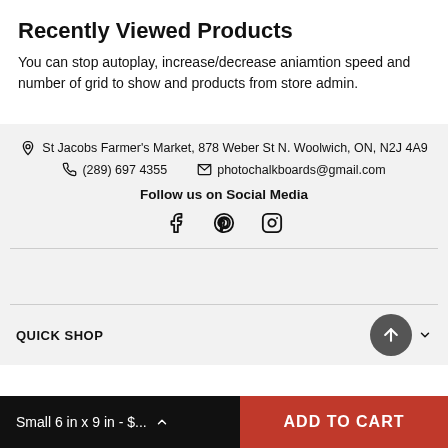Recently Viewed Products
You can stop autoplay, increase/decrease aniamtion speed and number of grid to show and products from store admin.
St Jacobs Farmer's Market, 878 Weber St N. Woolwich, ON, N2J 4A9 | (289) 697 4355 | photochalkboards@gmail.com | Follow us on Social Media
QUICK SHOP
Small 6 in x 9 in - $...
ADD TO CART